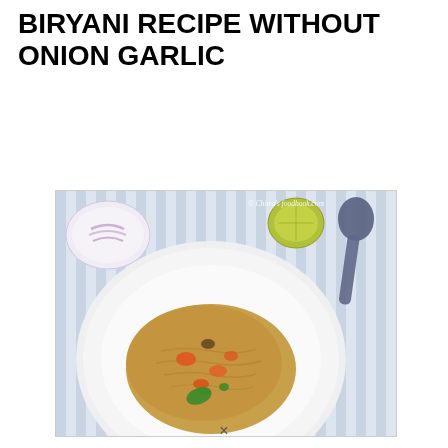BIRYANI RECIPE WITHOUT ONION GARLIC
[Figure (photo): Overhead photo of biryani rice dish served on a white plate, accompanied by a bowl of sliced onions, a halved lime, and a spoon, on a blue striped background. Watermark reads: Chitra's foodbook.com]
×